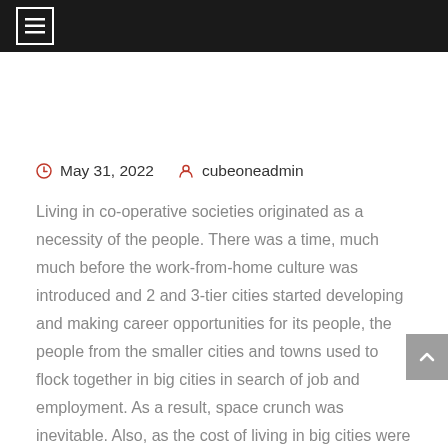May 31, 2022   cubeoneadmin
Living in co-operative societies originated as a necessity of the people. There was a time, much much before the work-from-home culture was introduced and 2 and 3-tier cities started developing and making career opportunities for its people, the people from the smaller cities and towns used to flock together in big cities in search of job and employment. As a result, space crunch was inevitable. Also, as the cost of living in big cities were higher, affording